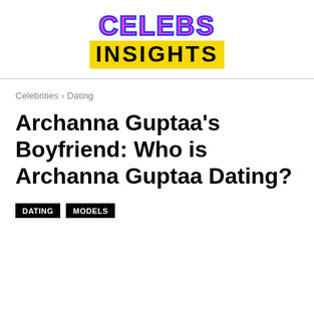CELEBS INSIGHTS
Celebrities › Dating
Archanna Guptaa's Boyfriend: Who is Archanna Guptaa Dating?
DATING   MODELS